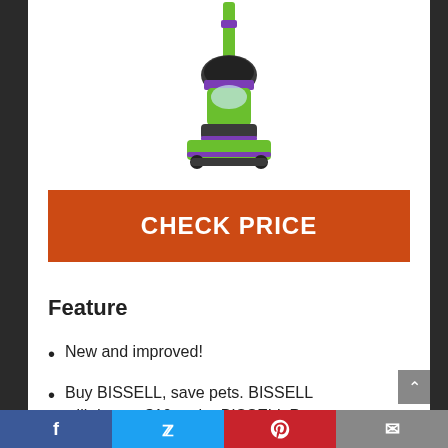[Figure (photo): Upright vacuum cleaner (BISSELL) in green/purple/black colors, product shot on white background]
CHECK PRICE
Feature
New and improved!
Buy BISSELL, save pets. BISSELL will donate $10 to the BISSELL Pet Foundation for each purchase of